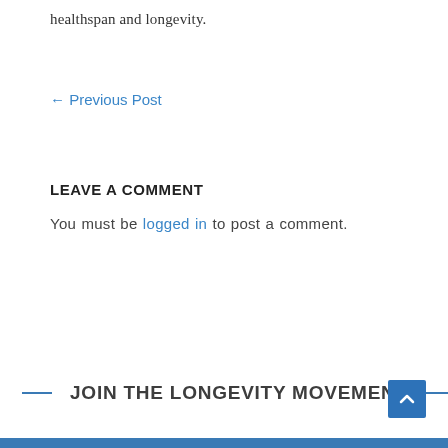healthspan and longevity.
← Previous Post
LEAVE A COMMENT
You must be logged in to post a comment.
JOIN THE LONGEVITY MOVEMENT